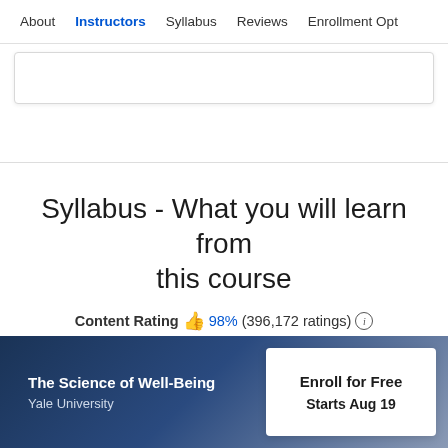About  Instructors  Syllabus  Reviews  Enrollment Opt
Syllabus - What you will learn from this course
Content Rating 👍 98%  (396,172 ratings) ℹ
The Science of Well-Being
Yale University
Enroll for Free
Starts Aug 19